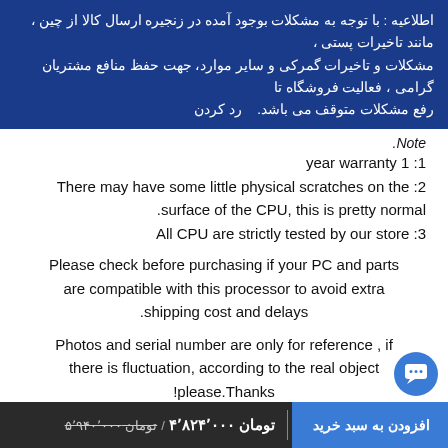اطلاعیه : با توجه به مشکلات بوجود آمده در زنجیره ارسال کالا از چین ، مانند تاخیرات پستی ، مشکلات و تاخیرات گمرکی و سایر موارد، جهت حفظ منافع مشتریان گرامی ، فعالیت فروشگاه تا رفع مشکلات متوقف می باشد.    رد کردن
Note:
1: 1 year warranty
2: There may have some little physical scratches on the surface of the CPU, this is pretty normal.
3: All CPU are strictly tested by our store
Please check before purchasing if your PC and parts are compatible with this processor to avoid extra shipping cost and delays.
Photos and serial number are only for reference , if there is fluctuation, according to the real object please.Thanks!
The origin of CPU is from different country, like China, Malaysia, Vietnam,Costa Rica etc, but the performance
افزودن به سبد خرید / تومان ۴٬۸۲۴٬۰۰۰ / تومان ۵٬۹۴۰٬۰۰۰